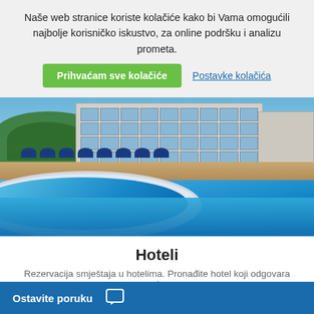Naše web stranice koriste kolačiće kako bi Vama omogućili najbolje korisničko iskustvo, za online podršku i analizu prometa.
Prihvaćam sve kolačiće
Postavke kolačića
[Figure (photo): Hotel exterior with large outdoor swimming pool. A modern multi-story hotel building with balconies is visible in the background, with green hills and blue sky behind it. Blue umbrellas line the pool terrace. The foreground shows a curved pool with bright blue water.]
Hoteli
Rezervacija smještaja u hotelima. Pronađite hotel koji odgovara svim
Ostavite poruku